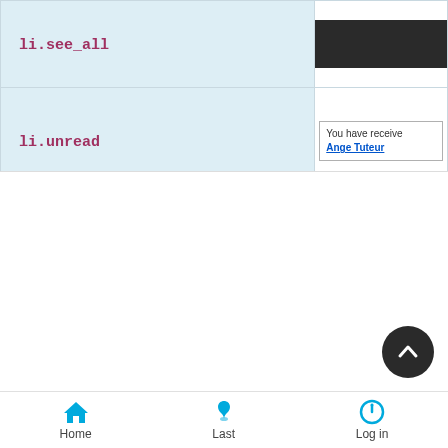| Selector | Preview |
| --- | --- |
| li.see_all | (dark bar) |
| li.unread | You have receive... Ange Tuteur |
| #notif_list li .contentText |  |
| #notif_list li a.delete | (red X icon) |
| div.fa_notification | You have r... Ange Tute... |
| div.fa_notification .content | You have r... Ange Tuteu... |
[Figure (screenshot): Scroll-to-top button (dark circle with up chevron)]
Home   Last   Log in